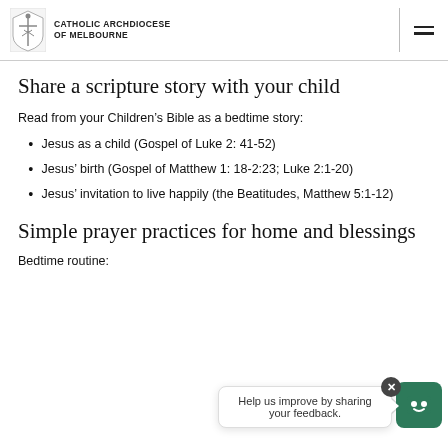CATHOLIC ARCHDIOCESE OF MELBOURNE
Share a scripture story with your child
Read from your Children's Bible as a bedtime story:
Jesus as a child (Gospel of Luke 2: 41-52)
Jesus' birth (Gospel of Matthew 1: 18-2:23; Luke 2:1-20)
Jesus' invitation to live happily (the Beatitudes, Matthew 5:1-12)
Simple prayer practices for home and blessings
Bedtime routine:
Help us improve by sharing your feedback.